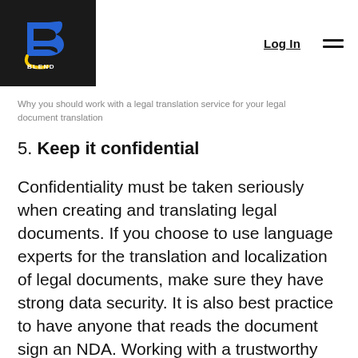Log In [menu]
Why you should work with a legal translation service for your legal document translation
5. Keep it confidential
Confidentiality must be taken seriously when creating and translating legal documents. If you choose to use language experts for the translation and localization of legal documents, make sure they have strong data security. It is also best practice to have anyone that reads the document sign an NDA. Working with a trustworthy and secure legal translation service